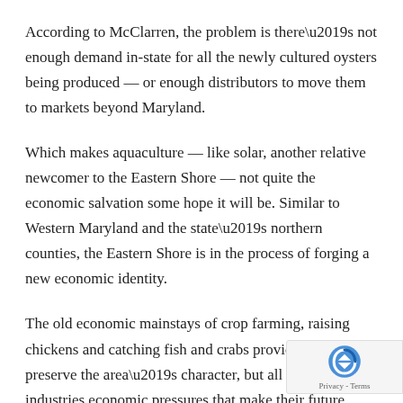According to McClarren, the problem is there’s not enough demand in-state for all the newly cultured oysters being produced — or enough distributors to move them to markets beyond Maryland.
Which makes aquaculture — like solar, another relative newcomer to the Eastern Shore — not quite the economic salvation some hope it will be. Similar to Western Maryland and the state’s northern counties, the Eastern Shore is in the process of forging a new economic identity.
The old economic mainstays of crop farming, raising chickens and catching fish and crabs provide jobs and preserve the area’s character, but all three industries economic pressures that make their future uncertain.